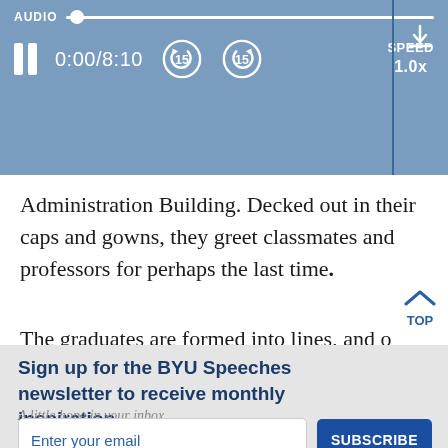[Figure (screenshot): Audio player UI bar with blue background showing pause button, time 0:00/8:10, rewind 15s, forward 15s buttons, speed 1.0x, and a download icon. Progress bar at top with white dot indicator.]
Administration Building. Decked out in their caps and gowns, they greet classmates and professors for perhaps the last time.
The graduates are formed into lines, and o
Sign up for the BYU Speeches newsletter to receive monthly inspiration.
A little hope in your inbox.
Enter your email
SUBSCRIBE